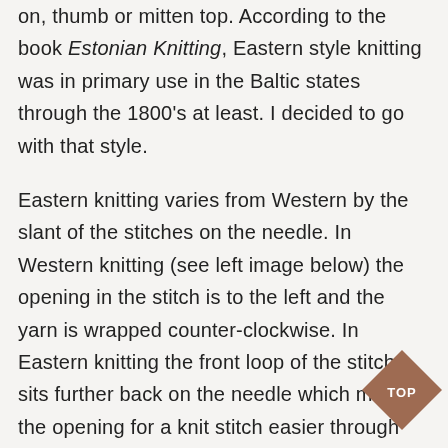on, thumb or mitten top. According to the book Estonian Knitting, Eastern style knitting was in primary use in the Baltic states through the 1800's at least. I decided to go with that style.
Eastern knitting varies from Western by the slant of the stitches on the needle. In Western knitting (see left image below) the opening in the stitch is to the left and the yarn is wrapped counter-clockwise. In Eastern knitting the front loop of the stitch sits further back on the needle which makes the opening for a knit stitch easier through the back of the needle and the working yarn is wrapped clockwise. (See image